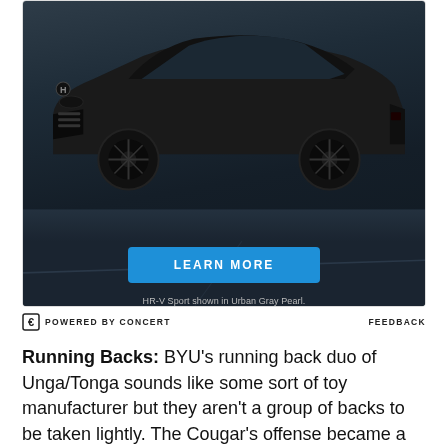[Figure (photo): Advertisement showing a dark-colored Honda HR-V Sport SUV on a dark background with a blue 'LEARN MORE' button and disclaimer text 'HR-V Sport shown in Urban Gray Pearl.']
POWERED BY CONCERT    FEEDBACK
Running Backs: BYU's running back duo of Unga/Tonga sounds like some sort of toy manufacturer but they aren't a group of backs to be taken lightly. The Cougar's offense became a lot more potent last week when Manase Tonga was cleared by the NCAA to play this season. In 2007 Tonga rushed for an average of 3.5 yards per carry and 8 touchdowns. He doesn't